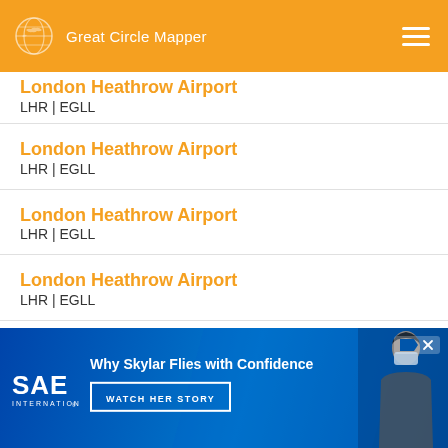Great Circle Mapper
London Heathrow Airport
LHR | EGLL
London Heathrow Airport
LHR | EGLL
London Heathrow Airport
LHR | EGLL
London Heathrow Airport
LHR | EGLL
London Heathrow Airport
LHR | EGLL
London Heathrow Airport
LHR | EGLL
[Figure (infographic): SAE International advertisement: Why Skylar Flies with Confidence – Watch Her Story]